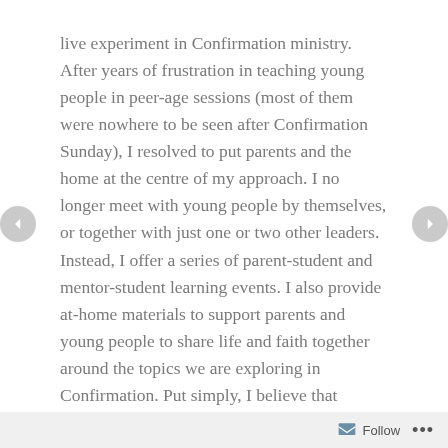live experiment in Confirmation ministry. After years of frustration in teaching young people in peer-age sessions (most of them were nowhere to be seen after Confirmation Sunday), I resolved to put parents and the home at the centre of my approach. I no longer meet with young people by themselves, or together with just one or two other leaders. Instead, I offer a series of parent-student and mentor-student learning events. I also provide at-home materials to support parents and young people to share life and faith together around the topics we are exploring in Confirmation. Put simply, I believe that forming the young person in faith means forming their household in faith.

Which brings me to last Sunday night. The learning